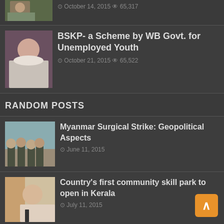[Figure (photo): Partial thumbnail of a person, top of page]
October 14, 2015 65,317
[Figure (photo): Thumbnail photo of a woman in white saree]
BSKP- a Scheme by WB Govt. for Unemployed Youth
October 21, 2015 65,522
RANDOM POSTS
[Figure (photo): Thumbnail photo of soldiers in military gear]
Myanmar Surgical Strike: Geopolitical Aspects
June 11, 2015
[Figure (photo): Thumbnail photo of a man in white shirt speaking]
Country's first community skill park to open in Kerala
July 11, 2015
[Figure (photo): Thumbnail showing Ministry of Human Resource Development document]
Special Fellowship for Indian Nationals to Study in Oxford University Affiliated College in UK
February 10, 2016
[Figure (photo): Thumbnail photo at bottom, partially visible]
Workshed Cum Housing Scheme For Craftsmen: Jammu & Kashmir